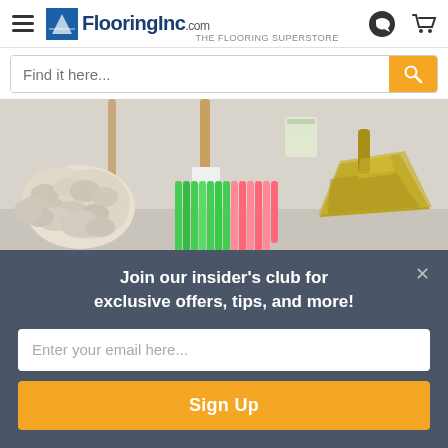FlooringInc.com
Find it here...
[Figure (photo): Cleaning supplies: a white rope mop head, a colorful broom with green and pink bristles, and a yellow dustpan leaning against a light gray background.]
To start things off, you need the materials to help clean
Join our insider's club for exclusive offers, tips, and more!
Enter your email here...
Sign Up